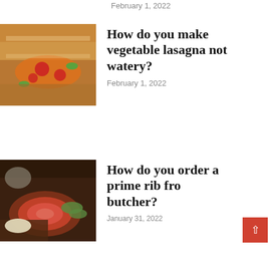February 1, 2022
[Figure (photo): Vegetable lasagna with tomatoes and basil]
How do you make vegetable lasagna not watery?
February 1, 2022
[Figure (photo): Sliced prime rib on a plate with asparagus and mashed potatoes]
How do you order a prime rib from a butcher?
January 31, 2022